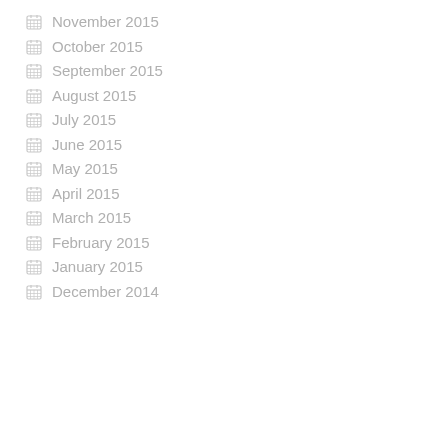November 2015
October 2015
September 2015
August 2015
July 2015
June 2015
May 2015
April 2015
March 2015
February 2015
January 2015
December 2014